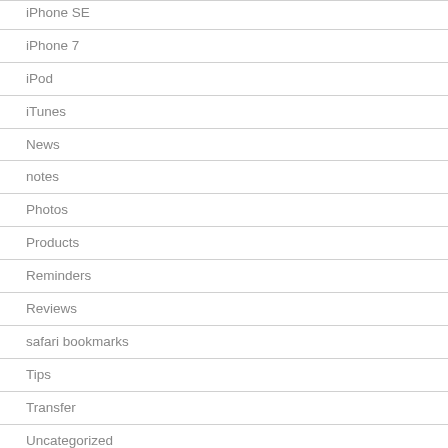iPhone SE
iPhone 7
iPod
iTunes
News
notes
Photos
Products
Reminders
Reviews
safari bookmarks
Tips
Transfer
Uncategorized